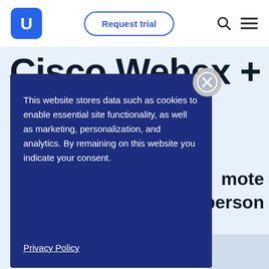[Figure (logo): UserTesting logo — blue speech bubble with white U letter]
Request trial
Cisco Webex + UserTesting
mote
-person
This website stores data such as cookies to enable essential site functionality, as well as marketing, personalization, and analytics. By remaining on this website you indicate your consent.
Privacy Policy